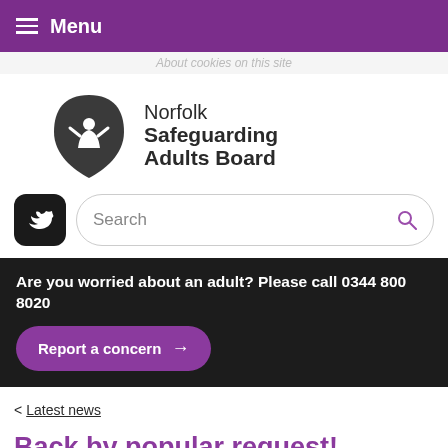Menu
About cookies on this site
[Figure (logo): Norfolk Safeguarding Adults Board logo with a stylized dark shield and figure icon]
[Figure (screenshot): Twitter/X social media icon button (black rounded square)]
Search
Are you worried about an adult? Please call 0344 800 8020
Report a concern →
< Latest news
Back by popular request!